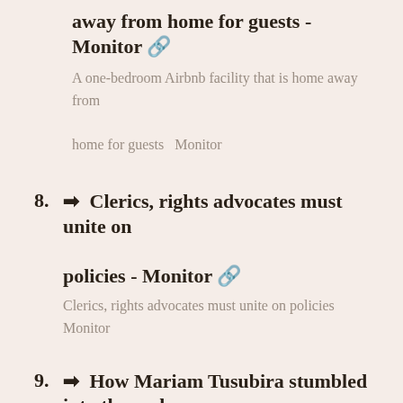away from home for guests - Monitor 🔗
A one-bedroom Airbnb facility that is home away from home for guests  Monitor
8. → Clerics, rights advocates must unite on policies - Monitor 🔗
Clerics, rights advocates must unite on policies  Monitor
9. → How Mariam Tusubira stumbled into the real estate business at 19 - Monitor 🔗
How Mariam Tusubira stumbled into the real estate business at 19  Monitor